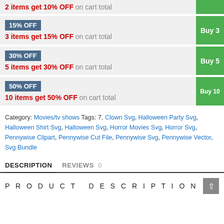2 items get 10% OFF on cart total
15% OFF
3 items get 15% OFF on cart total
30% OFF
5 items get 30% OFF on cart total
50% OFF
10 items get 50% OFF on cart total
Category: Movies/tv shows Tags: 7, Clown Svg, Halloween Party Svg, Halloween Shirt Svg, Halloween Svg, Horror Movies Svg, Horror Svg, Pennywise Clipart, Pennywise Cut File, Pennywise Svg, Pennywise Vector, Svg Bundle
DESCRIPTION   REVIEWS 0
PRODUCT DESCRIPTION